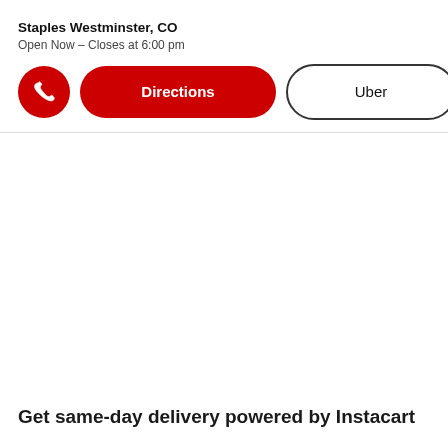Staples Westminster, CO
Open Now - Closes at 6:00 pm
[Figure (screenshot): Button row with phone icon (red circle), Directions button (red pill), and Uber button (outlined pill)]
Get same-day delivery powered by Instacart